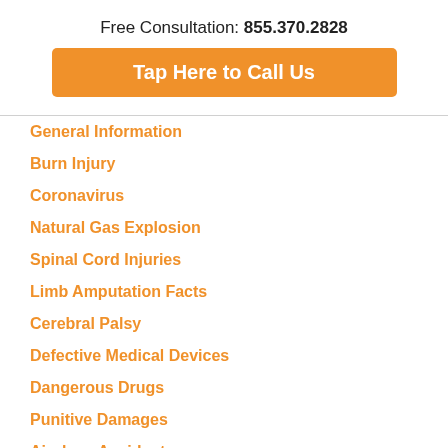Free Consultation: 855.370.2828
Tap Here to Call Us
General Information
Burn Injury
Coronavirus
Natural Gas Explosion
Spinal Cord Injuries
Limb Amputation Facts
Cerebral Palsy
Defective Medical Devices
Dangerous Drugs
Punitive Damages
Airplane Accidents